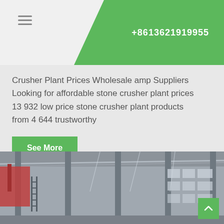+8613621919955
Crusher Plant Prices Wholesale amp Suppliers Looking for affordable stone crusher plant prices 13 932 low price stone crusher plant products from 4 644 trustworthy
See More
[Figure (photo): Interior of a large industrial warehouse or factory with steel frame structure, columns, roof trusses, and large windows. A red crane or machinery is visible on the left side.]